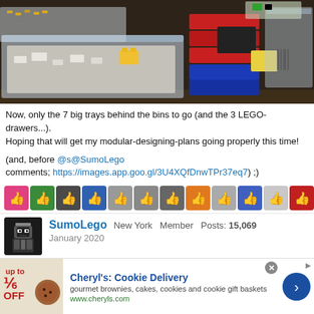[Figure (photo): Photo of LEGO storage bins and containers on a shelf — clear plastic trays with white pieces, colorful stacking drawers in red/blue, bags of LEGO pieces, and plastic containers]
Now, only the 7 big trays behind the bins to go (and the 3 LEGO-drawers...). Hoping that will get my modular-designing-plans going properly this time!
(and, before @s@SumoLego comments; https://images.app.goo.gl/3U4XQfDnwTPr37eq7) ;)
[Figure (infographic): Row of reaction icons (thumbs up emojis with various colored user avatar backgrounds) — 12 reaction icons total]
SumoLego  New York  Member  Posts: 15,069
January 2020
[Figure (infographic): Advertisement for Cheryl's Cookie Delivery — gourmet brownies, cakes, cookies and cookie gift baskets. www.cheryls.com]